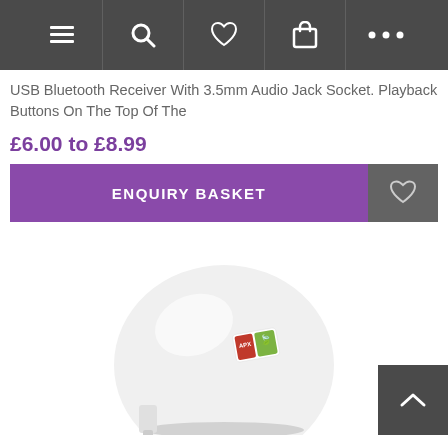Navigation bar with menu, search, wishlist, basket, more icons
USB Bluetooth Receiver With 3.5mm Audio Jack Socket. Playback Buttons On The Top Of The
£6.00 to £8.99
ENQUIRY BASKET
[Figure (photo): White spherical USB Bluetooth receiver device with a small product sticker/label on it, partially visible at the bottom of the page]